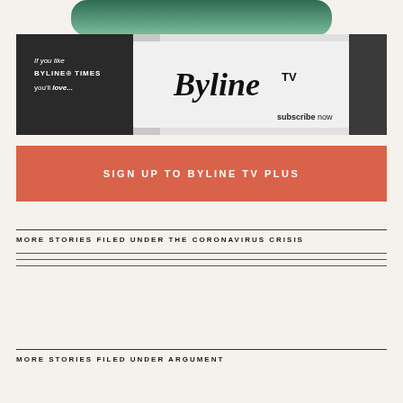[Figure (logo): Byline Times logo pill shape in green gradient at top]
[Figure (photo): Byline TV advertisement banner showing studio background with text 'If you like BYLINE TIMES you'll love...' and 'Byline TV' logo with 'subscribe now']
SIGN UP TO BYLINE TV PLUS
MORE STORIES FILED UNDER THE CORONAVIRUS CRISIS
MORE STORIES FILED UNDER ARGUMENT